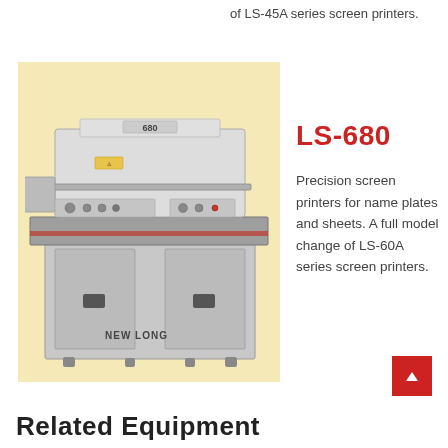of LS-45A series screen printers.
[Figure (photo): NEW LONG LS-680 precision screen printer machine photographed on yellow/cream background. Industrial printing machine with model number 680 visible on top.]
LS-680
Precision screen printers for name plates and sheets. A full model change of LS-60A series screen printers.
Related Equipment